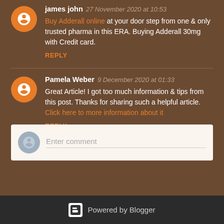james john  27 November 2020 at 10:53
Buy Adderall online at your door step from one & only trusted pharma in this ERA. Buying Adderall 30mg with Credit card.
REPLY
Pamela Weber  9 December 2020 at 01:33
Great Article! I got too much information & tips from this post. Thanks for sharing such a helpful article. Click here to more information about it
REPLY
[Figure (other): Enter comment input box with user avatar placeholder]
Powered by Blogger